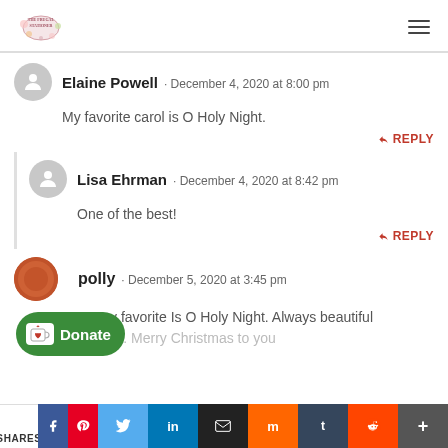The Frugal Stationer — site header with logo and hamburger menu
Elaine Powell · December 4, 2020 at 8:00 pm
My favorite carol is O Holy Night.
REPLY
Lisa Ehrman · December 4, 2020 at 8:42 pm
One of the best!
REPLY
polly · December 5, 2020 at 3:45 pm
My very favorite Is O Holy Night. Always beautiful [who] sings it. Merry Christmas to you
Donate
SHARES | Facebook | Pinterest | Twitter | LinkedIn | Email | Mix | Tumblr | Reddit | +